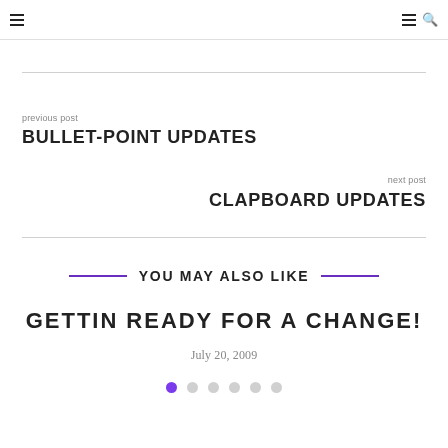Navigation header with hamburger menu and search icons
previous post
BULLET-POINT UPDATES
next post
CLAPBOARD UPDATES
YOU MAY ALSO LIKE
GETTIN READY FOR A CHANGE!
July 20, 2009